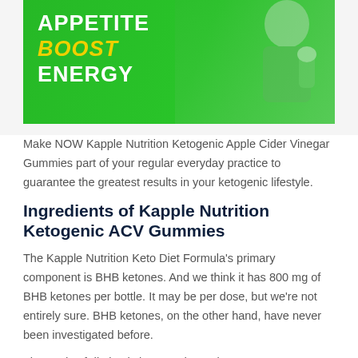[Figure (illustration): Green promotional banner showing bold white text 'APPETITE', yellow italic text 'BOOST', white text 'ENERGY', with a person holding a container on the right side against a green background.]
Make NOW Kapple Nutrition Ketogenic Apple Cider Vinegar Gummies part of your regular everyday practice to guarantee the greatest results in your ketogenic lifestyle.
Ingredients of Kapple Nutrition Ketogenic ACV Gummies
The Kapple Nutrition Keto Diet Formula's primary component is BHB ketones. And we think it has 800 mg of BHB ketones per bottle. It may be per dose, but we're not entirely sure. BHB ketones, on the other hand, have never been investigated before.
The study of dieting is long, and BHB ketones are a